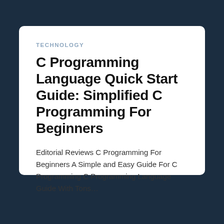TECHNOLOGY
C Programming Language Quick Start Guide: Simplified C Programming For Beginners
Editorial Reviews C Programming For Beginners A Simple and Easy Guide For C Programming C Programming Language Guide With Tons…